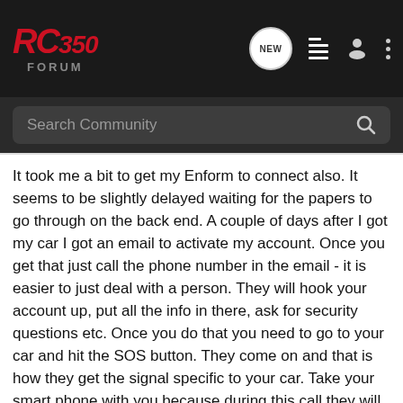[Figure (logo): RC350 Forum logo in red italic text with gray 'FORUM' subtitle on dark background header, with navigation icons including NEW bubble, list icon, person icon, and dots menu]
Search Community
It took me a bit to get my Enform to connect also. It seems to be slightly delayed waiting for the papers to go through on the back end. A couple of days after I got my car I got an email to activate my account. Once you get that just call the phone number in the email - it is easier to just deal with a person. They will hook your account up, put all the info in there, ask for security questions etc. Once you do that you need to go to your car and hit the SOS button. They come on and that is how they get the signal specific to your car. Take your smart phone with you because during this call they will send you an email with your activation code. Pop it into the app with your VIN and poof you are good to go. After I got off the SOS call mine was activated and working within 15 minutes.
Good luck and enjoy the drive!!!!